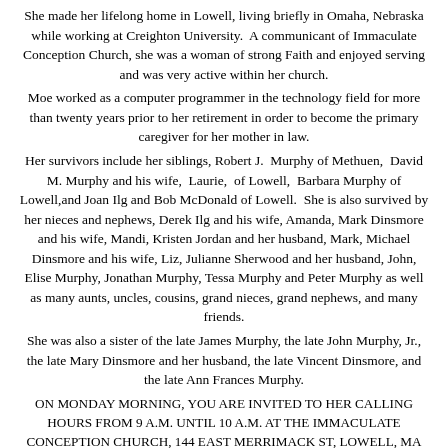She made her lifelong home in Lowell, living briefly in Omaha, Nebraska while working at Creighton University.  A communicant of Immaculate Conception Church, she was a woman of strong Faith and enjoyed serving and was very active within her church.
Moe worked as a computer programmer in the technology field for more than twenty years prior to her retirement in order to become the primary caregiver for her mother in law.
Her survivors include her siblings, Robert J.  Murphy of Methuen,  David M. Murphy and his wife,  Laurie,  of Lowell,  Barbara Murphy of Lowell,and Joan Ilg and Bob McDonald of Lowell.  She is also survived by her nieces and nephews, Derek Ilg and his wife, Amanda, Mark Dinsmore and his wife, Mandi, Kristen Jordan and her husband, Mark, Michael Dinsmore and his wife, Liz, Julianne Sherwood and her husband, John, Elise Murphy, Jonathan Murphy, Tessa Murphy and Peter Murphy as well as many aunts, uncles, cousins, grand nieces, grand nephews, and many friends.
She was also a sister of the late James Murphy, the late John Murphy, Jr., the late Mary Dinsmore and her husband, the late Vincent Dinsmore, and the late Ann Frances Murphy.
ON MONDAY MORNING, YOU ARE INVITED TO HER CALLING HOURS FROM 9 A.M. UNTIL 10 A.M. AT THE IMMACULATE CONCEPTION CHURCH, 144 EAST MERRIMACK ST, LOWELL, MA 01852. FOLLOWING THE CALLING HOURS,